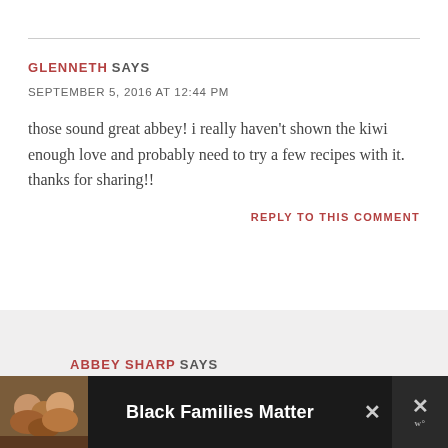GLENNETH SAYS
SEPTEMBER 5, 2016 AT 12:44 PM
those sound great abbey! i really haven't shown the kiwi enough love and probably need to try a few recipes with it. thanks for sharing!!
REPLY TO THIS COMMENT
ABBEY SHARP SAYS
[Figure (photo): Advertisement banner at bottom: photo of smiling people with text 'Black Families Matter' on dark background]